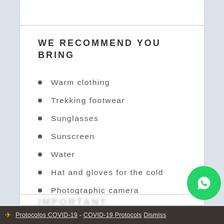WE RECOMMEND YOU BRING
Warm clothing
Trekking footwear
Sunglasses
Sunscreen
Water
Hat and gloves for the cold
Photographic camera
Protocolos COVID-19 - COVID-19 Protocols Dismiss